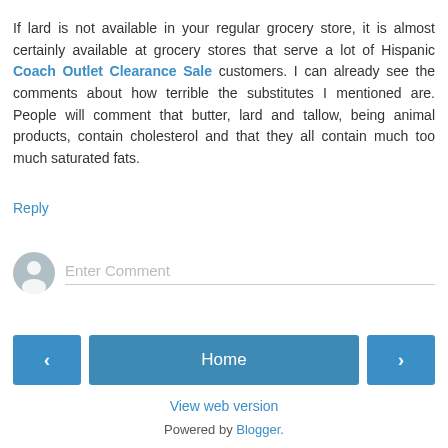If lard is not available in your regular grocery store, it is almost certainly available at grocery stores that serve a lot of Hispanic Coach Outlet Clearance Sale customers. I can already see the comments about how terrible the substitutes I mentioned are. People will comment that butter, lard and tallow, being animal products, contain cholesterol and that they all contain much too much saturated fats.
Reply
[Figure (other): User avatar icon (grey silhouette) with Enter Comment input field]
Home navigation with previous and next buttons
View web version
Powered by Blogger.